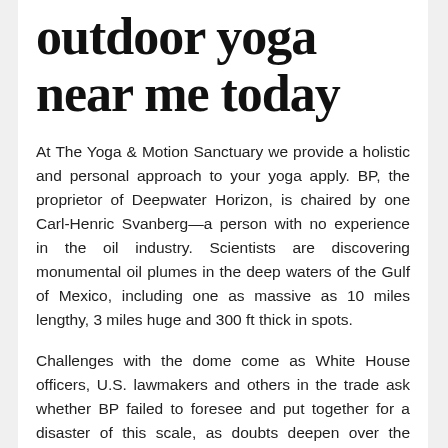outdoor yoga near me today
At The Yoga & Motion Sanctuary we provide a holistic and personal approach to your yoga apply. BP, the proprietor of Deepwater Horizon, is chaired by one Carl-Henric Svanberg—a person with no experience in the oil industry. Scientists are discovering monumental oil plumes in the deep waters of the Gulf of Mexico, including one as massive as 10 miles lengthy, 3 miles huge and 300 ft thick in spots.
Challenges with the dome come as White House officers, U.S. lawmakers and others in the trade ask whether BP failed to foresee and put together for a disaster of this scale, as doubts deepen over the corporate's capability to handle the spill. In Bayou La Batre, Alabama, the Coast Guard and BP were contracting boat house owners at an average price of $three,000 per day to assist with oil-skimming operations.